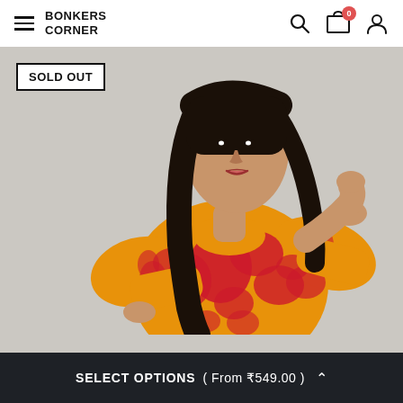BONKERS CORNER
[Figure (photo): A young woman wearing a yellow and red tie-dye patterned oversized top, posed against a light grey background. She has long dark hair and one hand raised to her head.]
SOLD OUT
SELECT OPTIONS ( From ₹549.00 ) ^